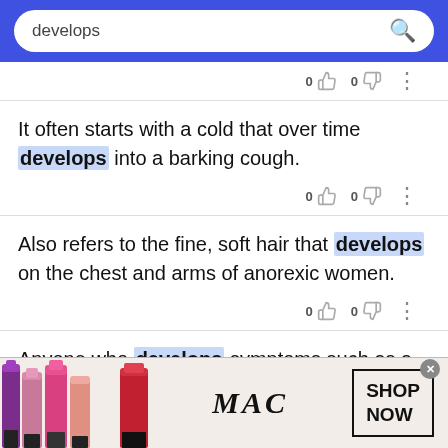develops [search bar]
It often starts with a cold that over time develops into a barking cough.
Also refers to the fine, soft hair that develops on the chest and arms of anorexic women.
Anyone who develops symptoms such as a rash, swelling, or difficulty breathing after taking
[Figure (screenshot): MAC cosmetics advertisement banner with lipsticks and SHOP NOW button]